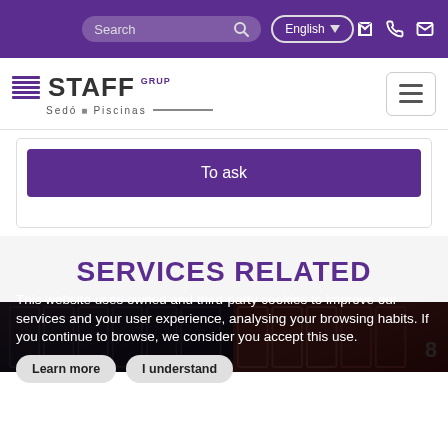Search | English | [phone icon] [email icon]
[Figure (logo): STAFF Grup logo with Sedó - Piscinas text and purple stripes]
To ask
SERVICES RELATED
[Figure (photo): Bottom image strip showing lockers/storage units in purple and red colors]
This website uses owned and third-party cookies to improve our services and your user experience, analysing your browsing habits. If you continue to browse, we consider you accept this use. Learn more | I understand